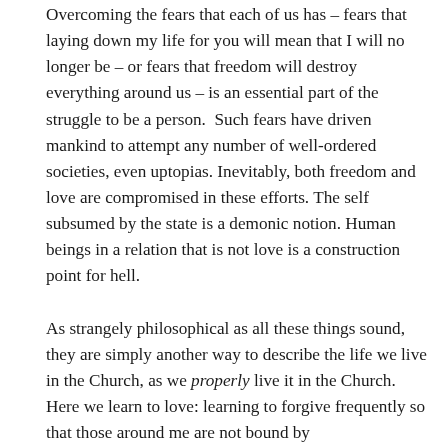Overcoming the fears that each of us has – fears that laying down my life for you will mean that I will no longer be – or fears that freedom will destroy everything around us – is an essential part of the struggle to be a person.  Such fears have driven mankind to attempt any number of well-ordered societies, even uptopias. Inevitably, both freedom and love are compromised in these efforts. The self subsumed by the state is a demonic notion. Human beings in a relation that is not love is a construction point for hell.

As strangely philosophical as all these things sound, they are simply another way to describe the life we live in the Church, as we properly live it in the Church. Here we learn to love: learning to forgive frequently so that those around me are not bound by